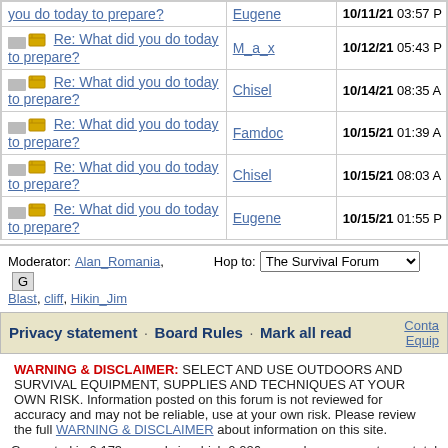| Topic | Author | Date |
| --- | --- | --- |
| Re: What did you do today to prepare? | Eugene | 10/11/21 03:57 P |
| Re: What did you do today to prepare? | M_a_x | 10/12/21 05:43 P |
| Re: What did you do today to prepare? | Chisel | 10/14/21 08:35 A |
| Re: What did you do today to prepare? | Famdoc | 10/15/21 01:39 A |
| Re: What did you do today to prepare? | Chisel | 10/15/21 08:03 A |
| Re: What did you do today to prepare? | Eugene | 10/15/21 01:55 P |
Moderator: Alan_Romania, Blast, cliff, Hikin_Jim   Hop to: The Survival Forum
Privacy statement · Board Rules · Mark all read   Conta Equip
WARNING & DISCLAIMER: SELECT AND USE OUTDOORS AND SURVIVAL EQUIPMENT, SUPPLIES AND TECHNIQUES AT YOUR OWN RISK. Information posted on this forum is not reviewed for accuracy and may not be reliable, use at your own risk. Please review the full WARNING & DISCLAIMER about information on this site.
Generated in 0.173 seconds in which 0.026 seconds were spent on a total of 14 queries. Zlib compression enabled.